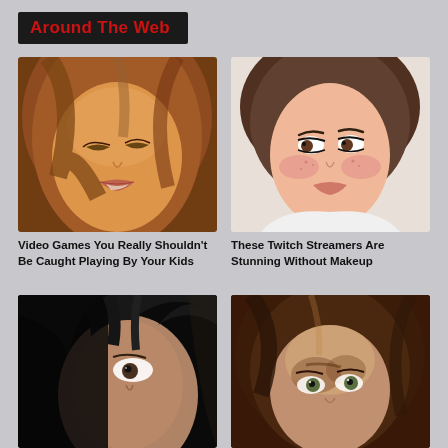Around The Web
[Figure (photo): Close-up of a CG animated female character with brown hair and green eyes, slightly parted lips]
[Figure (photo): Close-up photo of a woman with heavy makeup, freckles, brown hair, wearing a choker]
Video Games You Really Shouldn't Be Caught Playing By Your Kids
These Twitch Streamers Are Stunning Without Makeup
[Figure (photo): Close-up of a CG animated male character with dark hair, partially visible face]
[Figure (photo): Close-up of a CG animated female character with brown hair, green eyes, looking sideways]